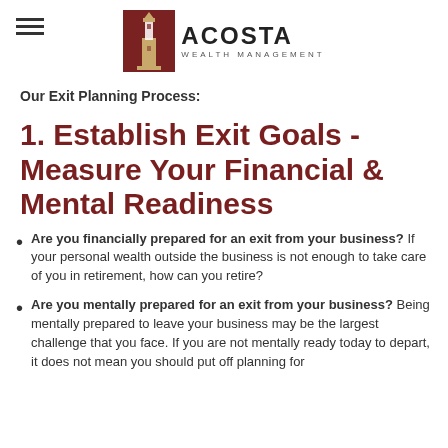[Figure (logo): Acosta Wealth Management logo with lighthouse icon and company name]
Our Exit Planning Process:
1. Establish Exit Goals - Measure Your Financial & Mental Readiness
Are you financially prepared for an exit from your business? If your personal wealth outside the business is not enough to take care of you in retirement, how can you retire?
Are you mentally prepared for an exit from your business? Being mentally prepared to leave your business may be the largest challenge that you face. If you are not mentally ready today to depart, it does not mean you should put off planning for